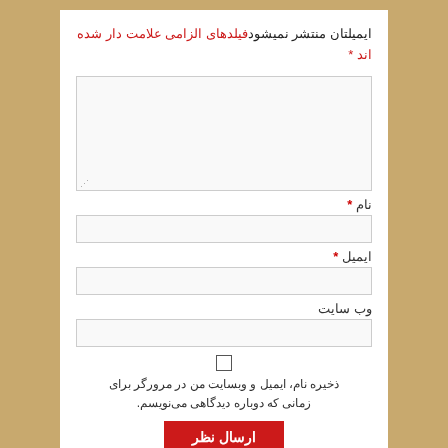ایمیلتان منتشر نمیشودفیلدهای الزامی علامت دار شده اند *
[Figure (other): Large text input area (textarea) for comment entry]
نام *
[Figure (other): Single-line text input for name]
ایمیل *
[Figure (other): Single-line text input for email]
وب سایت
[Figure (other): Single-line text input for website]
ذخیره نام، ایمیل و وبسایت من در مرورگر برای زمانی که دوباره دیدگاهی می‌نویسم.
ارسال نظر